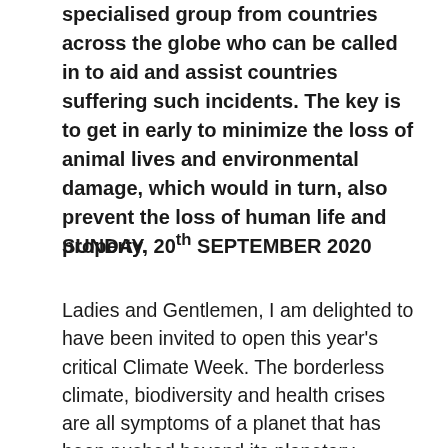specialised group from countries across the globe who can be called in to aid and assist countries suffering such incidents. The key is to get in early to minimize the loss of animal lives and environmental damage, which would in turn, also prevent the loss of human life and property.
SUNDAY, 20th SEPTEMBER 2020
Ladies and Gentlemen, I am delighted to have been invited to open this year's critical Climate Week. The borderless climate, biodiversity and health crises are all symptoms of a planet that has been pushed beyond its planetary boundaries. Without swift and immediate action, at an unprecedented pace and scale, we will